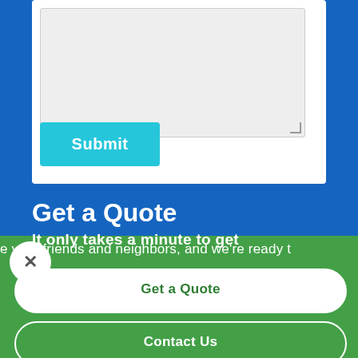[Figure (screenshot): Form card with grey textarea input and a cyan Submit button on blue background]
Get a Quote
It only takes a minute to get started
e your friends and neighbors, and we're ready t
Get a Quote
Contact Us